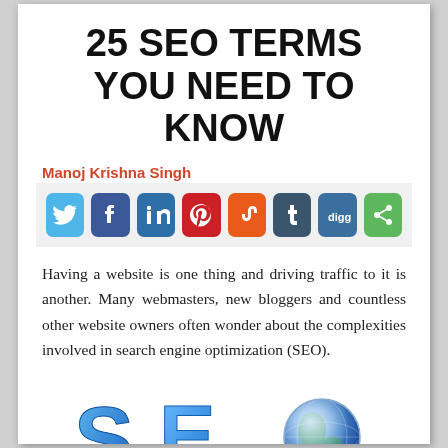25 SEO TERMS YOU NEED TO KNOW
Manoj Krishna Singh
[Figure (infographic): Social media sharing icons row: Twitter (blue), Facebook (dark blue), LinkedIn (blue), Pinterest (red), StumbleUpon (orange), Tumblr (dark blue-grey), Digg (blue), Share (green)]
Having a website is one thing and driving traffic to it is another. Many webmasters, new bloggers and countless other website owners often wonder about the complexities involved in search engine optimization (SEO).
[Figure (illustration): 3D blue SEO letters with a globe illustration at bottom of page]